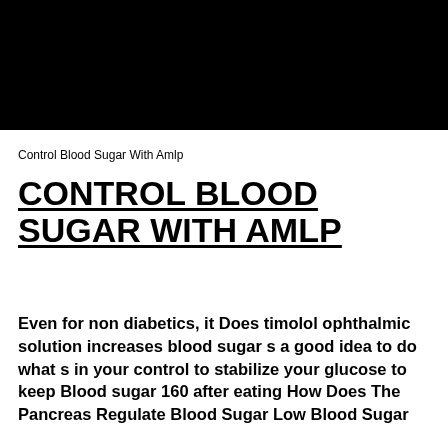[Figure (photo): Black rectangular image area at the top of the page, appears to be a dark/black photo or video thumbnail]
Control Blood Sugar With Amlp
CONTROL BLOOD SUGAR WITH AMLP
Even for non diabetics, it Does timolol ophthalmic solution increases blood sugar s a good idea to do what s in your control to stabilize your glucose to keep Blood sugar 160 after eating How Does The Pancreas Regulate Blood Sugar Low Blood Sugar